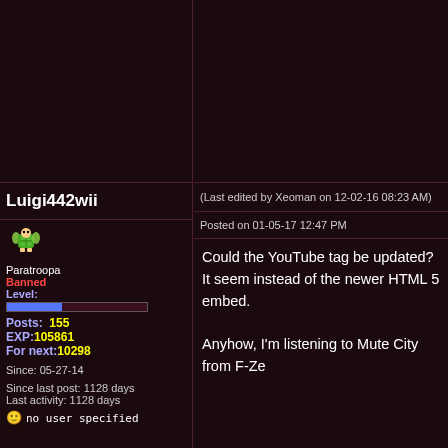(Last edited by Xeoman on 12-02-16 08:23 AM)
Posted on 01-05-17 12:47 PM
Luigi442wii
[Figure (illustration): Pixel art avatar of a Paratroopa character from Mario]
Paratroopa
Banned
Level:
Posts: 155
EXP:105861
For next: 10298
Since: 05-27-14
Since last post: 1128 days
Last activity: 1128 days
no user specified
Could the YouTube tag be updated? It seem instead of the newer HTML 5 embed.

Anyhow, I'm listening to Mute City from F-Ze